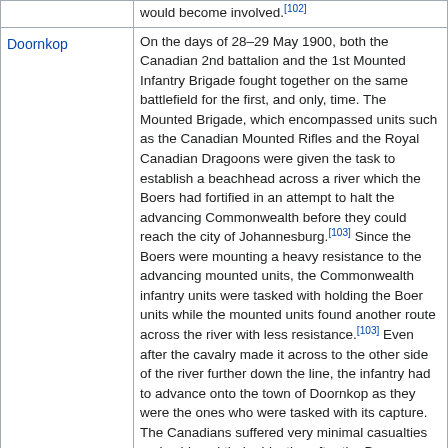|  | would become involved.[102] |
| Doornkop | On the days of 28–29 May 1900, both the Canadian 2nd battalion and the 1st Mounted Infantry Brigade fought together on the same battlefield for the first, and only, time. The Mounted Brigade, which encompassed units such as the Canadian Mounted Rifles and the Royal Canadian Dragoons were given the task to establish a beachhead across a river which the Boers had fortified in an attempt to halt the advancing Commonwealth before they could reach the city of Johannesburg.[103] Since the Boers were mounting a heavy resistance to the advancing mounted units, the Commonwealth infantry units were tasked with holding the Boer units while the mounted units found another route across the river with less resistance.[103] Even after the cavalry made it across to the other side of the river further down the line, the infantry had to advance onto the town of Doornkop as they were the ones who were tasked with its capture. The Canadians suffered very minimal casualties and achieved their objective after the Boer soldiers retreated from their positions.[103] Although the Canadians suffered minimal casualties, the lead British unit in the infantry advance, the Gordon Highlanders, did sustain heavy casualties in their march from the riflemen of the Boer force.[104] |